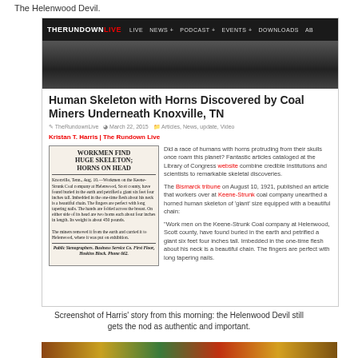The Helenwood Devil.
[Figure (screenshot): Screenshot of The Rundown Live website article: 'Human Skeleton with Horns Discovered by Coal Miners Underneath Knoxville, TN' with navigation bar, hero image, article metadata, newspaper clipping image, and article text.]
Screenshot of Harris' story from this morning: the Helenwood Devil still gets the nod as authentic and important.
[Figure (photo): Bottom strip of thumbnail images]